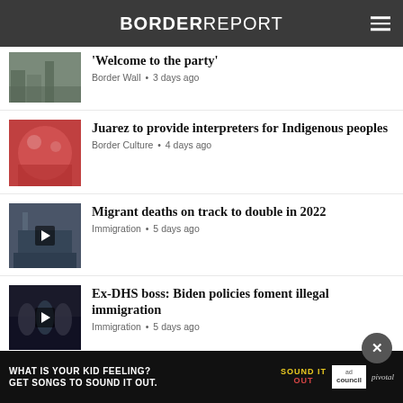BORDER REPORT
'Welcome to the party'
Border Wall • 3 days ago
Juarez to provide interpreters for Indigenous peoples
Border Culture • 4 days ago
Migrant deaths on track to double in 2022
Immigration • 5 days ago
Ex-DHS boss: Biden policies foment illegal immigration
Immigration • 5 days ago
View All Julian Resendiz ›
[Figure (screenshot): Advertisement banner: WHAT IS YOUR KID FEELING? GET SONGS TO SOUND IT OUT. Sound It Out | ad council | pivotal]